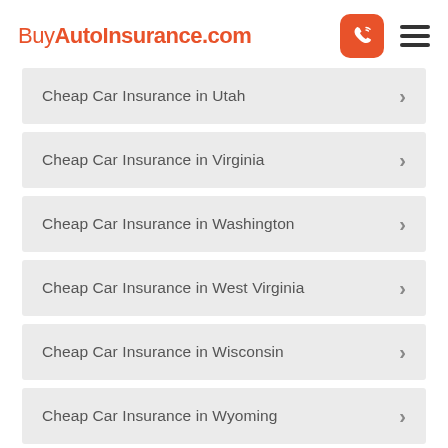BuyAutoInsurance.com
Cheap Car Insurance in Utah
Cheap Car Insurance in Virginia
Cheap Car Insurance in Washington
Cheap Car Insurance in West Virginia
Cheap Car Insurance in Wisconsin
Cheap Car Insurance in Wyoming